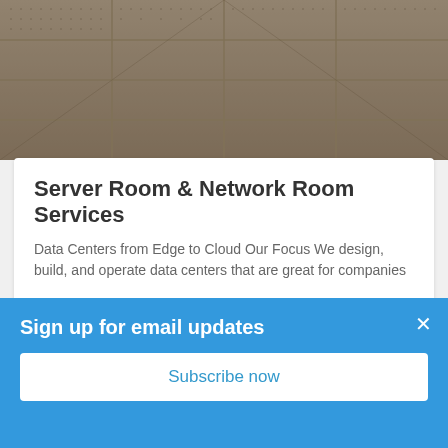[Figure (photo): Close-up aerial/overhead view of server room ceiling panels with perforated tile pattern in sepia/beige tones]
Server Room & Network Room Services
Data Centers from Edge to Cloud Our Focus We design, build, and operate data centers that are great for companies
READ MORE »
[Figure (photo): Glass office building facade with clouds reflected, modern architecture, with an ASSESSMENT badge overlay]
Sign up for email updates
Subscribe now